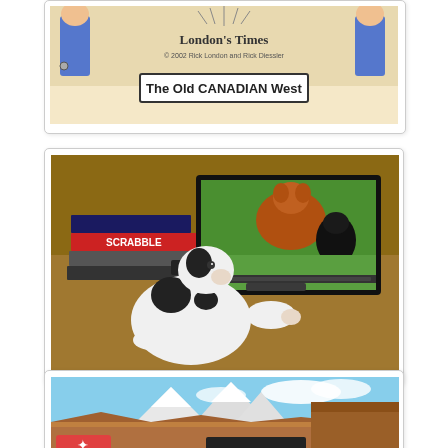[Figure (illustration): London's Times cartoon - The Old Canadian West, copyright 2002 Rick London and Rick Diessler, showing cartoon characters with text banner]
[Figure (photo): A dog (black and white, appears to be a Jack Russell or similar breed) sitting at a desk and looking at a laptop computer. The laptop screen shows an image of two large dogs (one brown, one black). A Scrabble board game box is visible on a stack of items next to the laptop.]
[Figure (photo): Landscape photo of desert mountain terrain with snow-capped peaks in background, clear blue sky with some clouds, and what appears to be a partially visible banner or logo at the bottom left of the image.]